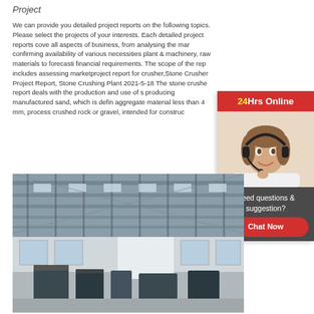Project
We can provide you detailed project reports on the following topics. Please select the projects of your interests. Each detailed project reports cover all aspects of business, from analysing the market, confirming availability of various necessities such as plant & machinery, raw materials to forecasting financial requirements. The scope of the report includes assessing marketproject report for crusher,Stone Crusher Project Report, Stone Crushing Plant 2021-5-18 The stone crusher report deals with the production and use of stone producing manufactured sand, which is defined as aggregate material less than 4 mm, processed from crushed rock or gravel, intended for construction
[Figure (photo): Industrial interior showing a large factory or crushing plant facility with high ceiling, metal roof structure, large windows, and heavy machinery on the floor]
[Figure (photo): Chat widget showing a customer service agent wearing a headset with '24Hrs Online' banner, 'Need questions & suggestion?' text, and a 'Chat Now' red button]